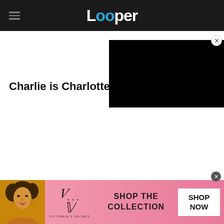Looper
[Figure (screenshot): Black video player embedded in upper right area of page]
Charlie is Charlotte
[Figure (photo): Victoria's Secret advertisement banner with model photo, VS logo, SHOP THE COLLECTION text, and SHOP NOW button]